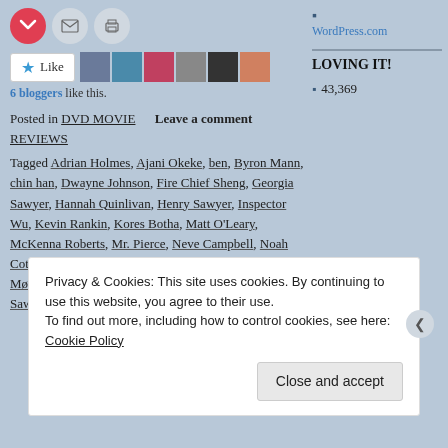[Figure (other): Social sharing icons row: Pocket (red circle), email (grey circle), print (grey circle)]
[Figure (other): Like button widget with star icon and 6 blogger avatars]
6 bloggers like this.
Posted in DVD MOVIE REVIEWS   Leave a comment
Tagged Adrian Holmes, Ajani Okeke, ben, Byron Mann, chin han, Dwayne Johnson, Fire Chief Sheng, Georgia Sawyer, Hannah Quinlivan, Henry Sawyer, Inspector Wu, Kevin Rankin, Kores Botha, Matt O'Leary, McKenna Roberts, Mr. Pierce, Neve Campbell, Noah Cottrell, Noah Taylor, Pablo Schreiber, Ray, Roland Møller, Sarah Sawyer, Skinny Hacker, Tzi Ma, Will Sawyer, Xia, Zhao
WordPress.com
LOVING IT!
43,369
Privacy & Cookies: This site uses cookies. By continuing to use this website, you agree to their use.
To find out more, including how to control cookies, see here: Cookie Policy
Close and accept